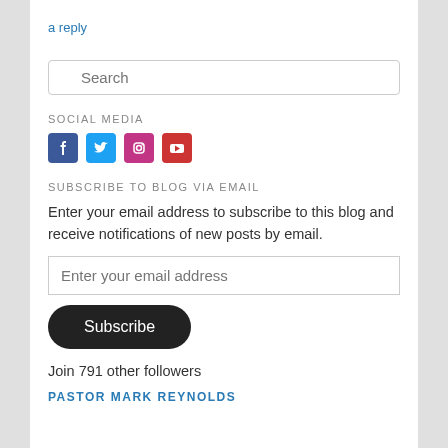a reply
Search
SOCIAL MEDIA
[Figure (illustration): Four social media icons: Facebook, Twitter, Instagram, YouTube, in blue colors]
SUBSCRIBE TO BLOG VIA EMAIL
Enter your email address to subscribe to this blog and receive notifications of new posts by email.
Enter your email address
Subscribe
Join 791 other followers
PASTOR MARK REYNOLDS